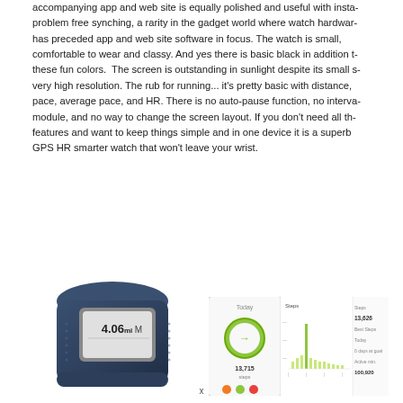accompanying app and web site is equally polished and useful with instant, problem free synching, a rarity in the gadget world where watch hardware has preceded app and web site software in focus. The watch is small, comfortable to wear and classy. And yes there is basic black in addition to these fun colors.  The screen is outstanding in sunlight despite its small size, very high resolution. The rub for running... it's pretty basic with distance, pace, average pace, and HR. There is no auto-pause function, no interval module, and no way to change the screen layout. If you don't need all the features and want to keep things simple and in one device it is a superb GPS HR smarter watch that won't leave your wrist.
[Figure (photo): A dark navy blue fitness watch/band showing a display reading '4.06 mi' and 'M', photographed at an angle showing the curved rubber band.]
[Figure (screenshot): Screenshot of a fitness tracking app dashboard showing a green circular step counter icon displaying 13,715 steps, a bar chart of activity, and stats on the right side including numbers like 13,626 and 100,920.]